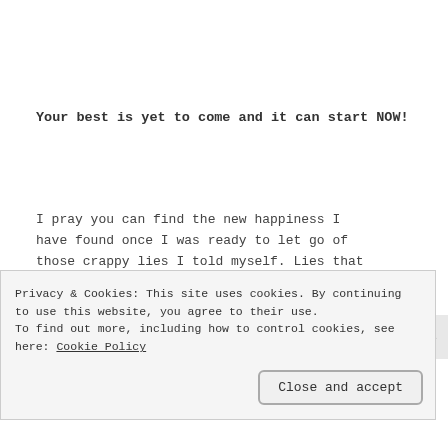Your best is yet to come and it can start NOW!
I pray you can find the new happiness I have found once I was ready to let go of those crappy lies I told myself. Lies that did nothing but bring me down.
Privacy & Cookies: This site uses cookies. By continuing to use this website, you agree to their use.
To find out more, including how to control cookies, see here: Cookie Policy

Close and accept